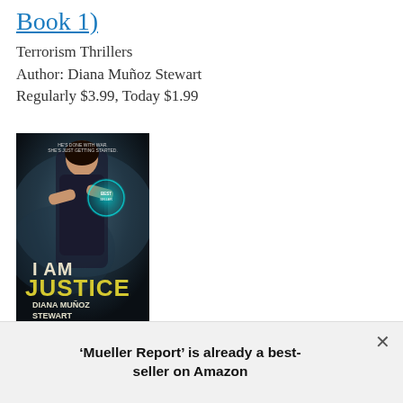Book 1)
Terrorism Thrillers
Author: Diana Muñoz Stewart
Regularly $3.99, Today $1.99
[Figure (photo): Book cover of 'I Am Justice' by Diana Muñoz Stewart — shows a woman in dark clothing against a smoky background with teal circular element; title in large yellow text at bottom]
She's a vigilante assassin. He's a Special Forces vet running a humanitarian group.
Their white-hot passion can change the world—if it
'Mueller Report' is already a best-seller on Amazon